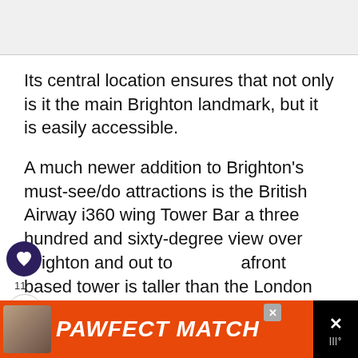[Figure (photo): Top image area (partially visible, clipped by page top)]
Its central location ensures that not only is it the main Brighton landmark, but it is easily accessible.
A much newer addition to Brighton's must-see/do attractions is the British Airway i360 wing Tower Bar a three hundred and sixty-degree view over Brighton and out to seafront based tower is taller than the London Eye and is wheelchair
[Figure (illustration): UI overlay: heart/like button (dark purple circle with heart icon), count '11', share button]
[Figure (photo): What's Next thumbnail circle showing outdoor/nature scene. Label: WHAT'S NEXT → 8 Ways to Spend the...]
[Figure (screenshot): Advertisement banner: PAWFECT MATCH on orange background with cat photo, close X button, and right-side icons]